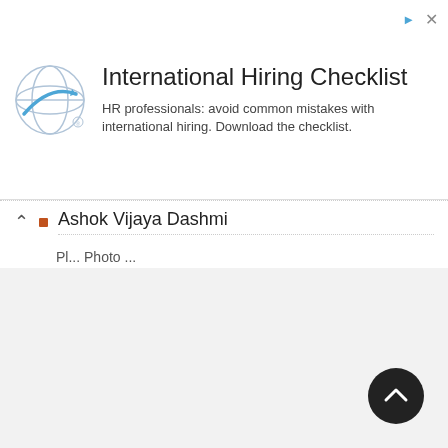[Figure (logo): Globe/sphere icon with blue tones inside ad banner]
International Hiring Checklist
HR professionals: avoid common mistakes with international hiring. Download the checklist.
Ashok Vijaya Dashmi
Pl... (partially visible text below list item)